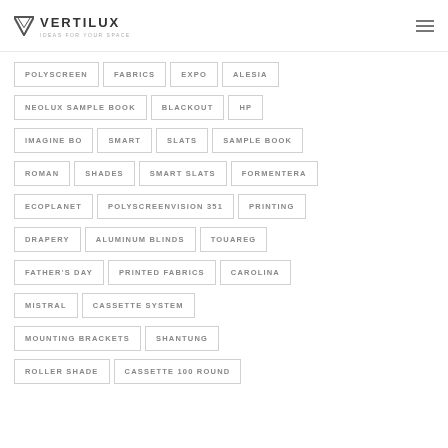VERTILUX
POLYSCREEN
FABRICS
EXPO
ALESIA
NEOLUX SAMPLE BOOK
BLACKOUT
HP
IMAGINE BO
SMART
SLATS
SAMPLE BOOK
ROMAN
SHADES
SMART SLATS
FORMENTERA
ECOPLANET
POLYSCREENVISION 351
PRINTING
DRAPERY
ALUMINUM BLINDS
TOUAREG
FATHER'S DAY
PRINTED FABRICS
CAROLINA
MISTRAL
CASSETTE SYSTEM
MOUNTING BRACKETS
SHANTUNG
ROLLER SHADE
CASSETTE 100 ROUND